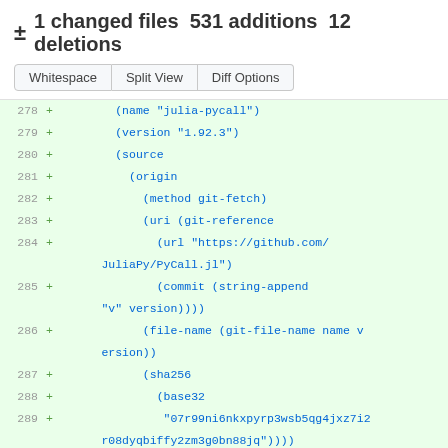± 1 changed files 531 additions 12 deletions
[Figure (screenshot): GitHub diff view buttons: Whitespace, Split View, Diff Options]
278 + (name "julia-pycall")
279 + (version "1.92.3")
280 + (source
281 + (origin
282 + (method git-fetch)
283 + (uri (git-reference
284 + (url "https://github.com/JuliaPy/PyCall.jl")
285 + (commit (string-append "v" version))))
286 + (file-name (git-file-name name version))
287 + (sha256
288 + (base32
289 + "07r99ni6nkxpyrp3wsb5qg4jxz7i2r08dyqbiffy2zm3g0bn88jq"))))
290 + (build-system julia-build-system)
291 + (arguments
292 + `(#:tests? #f